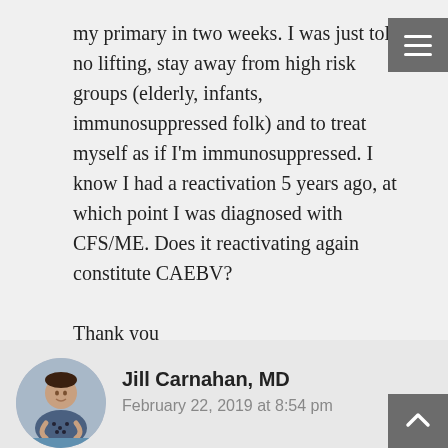my primary in two weeks. I was just told no lifting, stay away from high risk groups (elderly, infants, immunosuppressed folk) and to treat myself as if I'm immunosuppressed. I know I had a reactivation 5 years ago, at which point I was diagnosed with CFS/ME. Does it reactivating again constitute CAEBV?

Thank you
Reply
Jill Carnahan, MD
February 22, 2019 at 8:54 pm
Most of the population has had EBV at one time or another and will test